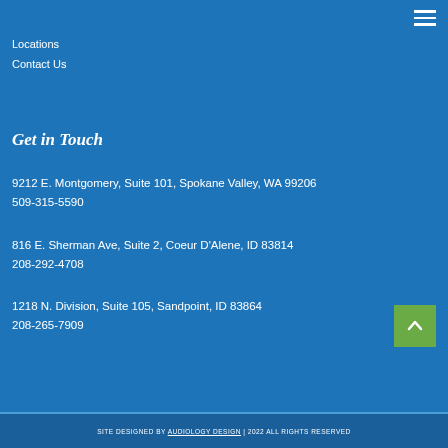Locations
Contact Us
Get in Touch
9212 E. Montgomery, Suite 101, Spokane Valley, WA 99206
509-315-5590
816 E. Sherman Ave, Suite 2, Coeur D'Alene, ID 83814
208-292-4708
1218 N. Division, Suite 105, Sandpoint, ID 83864
208-265-7909
SITE DESIGNED BY AUDIOLOGY DESIGN | 2022 ALL RIGHTS RESERVED